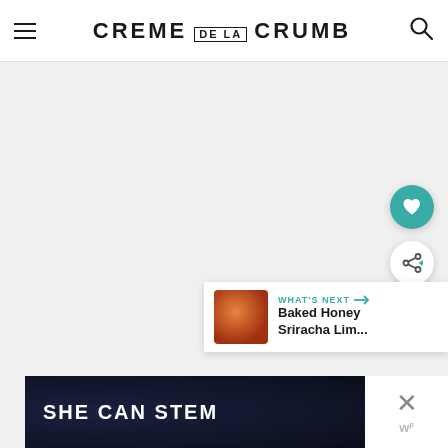CREME DE LA CRUMB
[Figure (screenshot): Large light gray empty content area below header]
[Figure (infographic): Teal circular heart/favorite button floating on right side]
[Figure (infographic): White circular share button floating on right side]
[Figure (infographic): What's Next panel showing thumbnail of Baked Honey Sriracha Lim... with teal arrow label]
[Figure (screenshot): Dark navy ad banner reading SHE CAN STEM with white close X button on right]